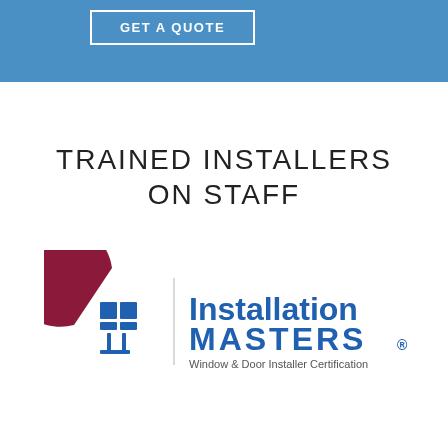[Figure (other): Blue banner with GET A QUOTE button outlined in white]
TRAINED INSTALLERS ON STAFF
[Figure (logo): Installation Masters Window & Door Installer Certification logo with dark red circular arrow and blue grid icon on left, blue text on right]